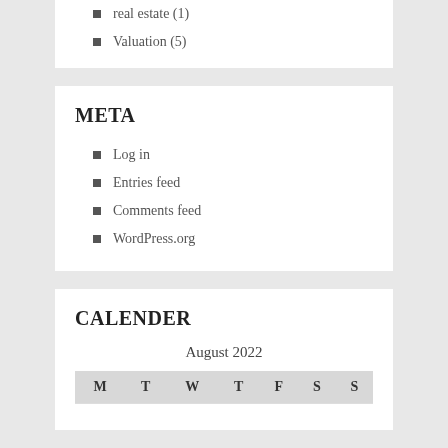real estate (1)
Valuation (5)
META
Log in
Entries feed
Comments feed
WordPress.org
CALENDER
August 2022
| M | T | W | T | F | S | S |
| --- | --- | --- | --- | --- | --- | --- |
|  |  |  |  |  |  |  |